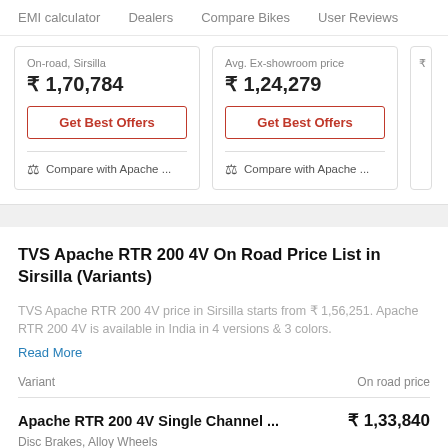EMI calculator   Dealers   Compare Bikes   User Reviews
On-road, Sirsilla
₹ 1,70,784
Get Best Offers
Compare with Apache ...
Avg. Ex-showroom price
₹ 1,24,279
Get Best Offers
Compare with Apache ...
TVS Apache RTR 200 4V On Road Price List in Sirsilla (Variants)
TVS Apache RTR 200 4V price in Sirsilla starts from ₹ 1,56,251. Apache RTR 200 4V is available in India in 4 versions & 3 colors.
Read More
| Variant | On road price |
| --- | --- |
| Apache RTR 200 4V Single Channel ... | ₹ 1,33,840 |
Disc Brakes, Alloy Wheels